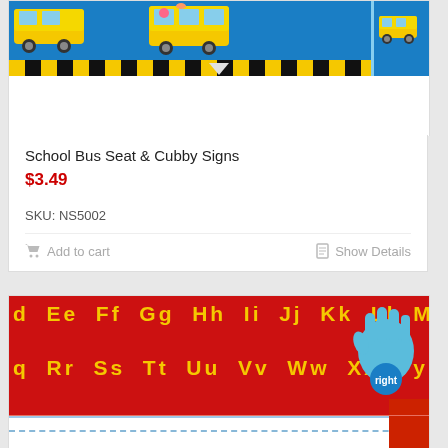[Figure (photo): School bus themed border/trim strip with yellow school buses on blue background with black and yellow checkerboard pattern, and a blue corner piece]
School Bus Seat & Cubby Signs
$3.49
SKU: NS5002
Add to cart
Show Details
[Figure (photo): Red alphabet desk strip showing letters Ee Ff Gg Hh Ii Jj Kk Ll Mm on top row and Rr Ss Tt Uu Vv Ww Xx Yy Zz on bottom row in yellow text, with a blue hand print icon labeled 'right' on the right side, and writing practice lines below]